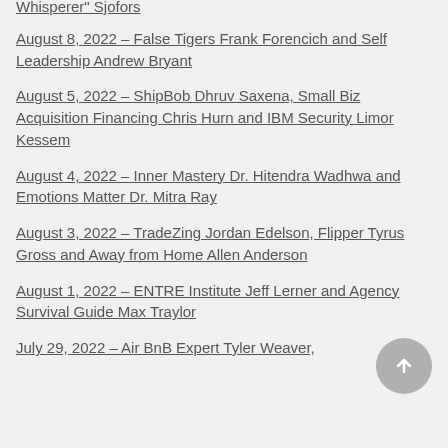Whisperer" Sjofors
August 8, 2022 – False Tigers Frank Forencich and Self Leadership Andrew Bryant
August 5, 2022 – ShipBob Dhruv Saxena, Small Biz Acquisition Financing Chris Hurn and IBM Security Limor Kessem
August 4, 2022 – Inner Mastery Dr. Hitendra Wadhwa and Emotions Matter Dr. Mitra Ray
August 3, 2022 – TradeZing Jordan Edelson, Flipper Tyrus Gross and Away from Home Allen Anderson
August 1, 2022 – ENTRE Institute Jeff Lerner and Agency Survival Guide Max Traylor
July 29, 2022 – Air BnB Expert Tyler Weaver,